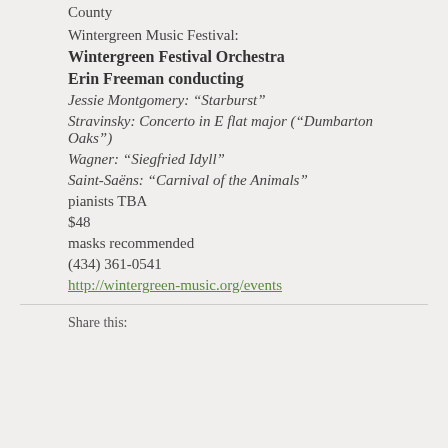County
Wintergreen Music Festival:
Wintergreen Festival Orchestra
Erin Freeman conducting
Jessie Montgomery: “Starburst”
Stravinsky: Concerto in E flat major (“Dumbarton Oaks”)
Wagner: “Siegfried Idyll”
Saint-Saëns: “Carnival of the Animals”
pianists TBA
$48
masks recommended
(434) 361-0541
http://wintergreen-music.org/events
Share this: